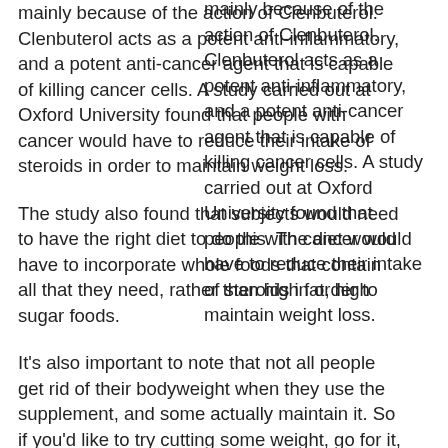mainly because of the action of Clenbuterol. Clenbuterol acts as a potent anti-inflammatory, and a potent anti-cancer agent that is capable of killing cancer cells. A study carried out at Oxford University found that people with cancer would have to reduce their intake of steroids in order to maintain weight loss.
The study also found that subjects would need to have the right diet to do this. The diet would have to incorporate whole foods that contain all that they need, rather than high fat, high sugar foods.
It's also important to note that not all people get rid of their bodyweight when they use the supplement, and some actually maintain it. So if you'd like to try cutting some weight, go for it, but don't expect to instantly cut the pounds off – you will need an effective diet to do so – and don't expect to lose fat fast.